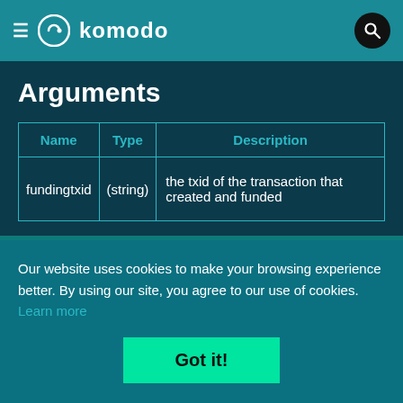≡  komodo  🔍
Arguments
| Name | Type | Description |
| --- | --- | --- |
| fundingtxid | (string) | the txid of the transaction that created and funded |
Our website uses cookies to make your browsing experience better. By using our site, you agree to our use of cookies. Learn more
Got it!